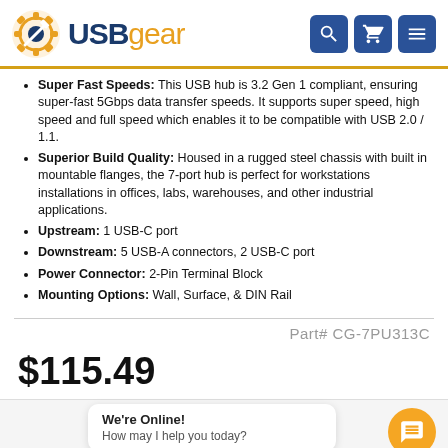[Figure (logo): USBgear logo with gear icon and navigation buttons (search, cart, menu)]
Super Fast Speeds: This USB hub is 3.2 Gen 1 compliant, ensuring super-fast 5Gbps data transfer speeds. It supports super speed, high speed and full speed which enables it to be compatible with USB 2.0 / 1.1.
Superior Build Quality: Housed in a rugged steel chassis with built in mountable flanges, the 7-port hub is perfect for workstations installations in offices, labs, warehouses, and other industrial applications.
Upstream: 1 USB-C port
Downstream: 5 USB-A connectors, 2 USB-C port
Power Connector: 2-Pin Terminal Block
Mounting Options: Wall, Surface, & DIN Rail
Part# CG-7PU313C
$115.49
We're Online! How may I help you today?